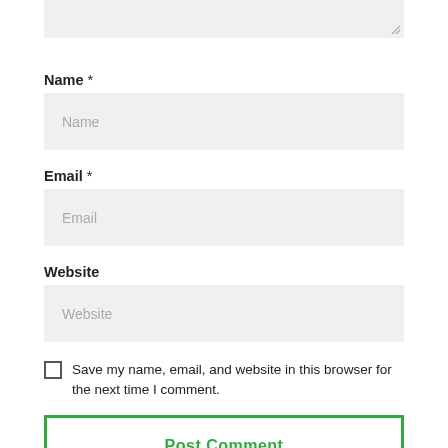[Figure (screenshot): Top portion of a comment form textarea (gray background, resize handle at bottom right)]
Name *
[Figure (screenshot): Name input field with placeholder text 'Name' on gray background]
Email *
[Figure (screenshot): Email input field with placeholder text 'Email' on gray background]
Website
[Figure (screenshot): Website input field with placeholder text 'Website' on gray background]
Save my name, email, and website in this browser for the next time I comment.
Post Comment